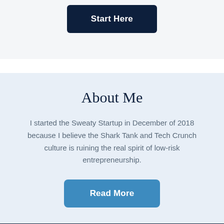[Figure (other): Dark navy blue button labeled 'Start Here']
About Me
I started the Sweaty Startup in December of 2018 because I believe the Shark Tank and Tech Crunch culture is ruining the real spirit of low-risk entrepreneurship.
[Figure (other): Blue button labeled 'Read More']
Get notified of new podcasts & articles
The most popular way to connect with us is through our weekly